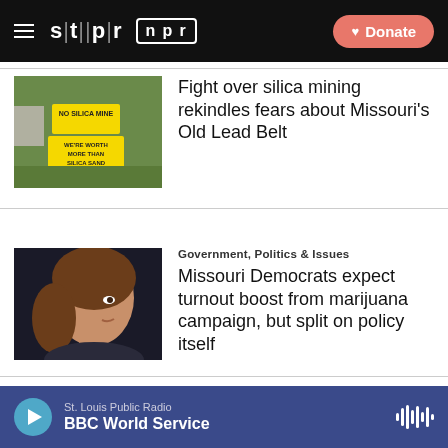STLPR NPR — Donate
[Figure (photo): Yellow protest signs in grass reading NO SILICA MINE and WE'RE WORTH MORE THAN SILICA SAND]
Fight over silica mining rekindles fears about Missouri's Old Lead Belt
[Figure (photo): Woman speaking in profile, brown hair, dark background]
Government, Politics & Issues
Missouri Democrats expect turnout boost from marijuana campaign, but split on policy itself
[Figure (photo): Partially visible image — pink/purple sky and clouds]
Economy & Business
Boeing pushes $5 million into
St. Louis Public Radio — BBC World Service